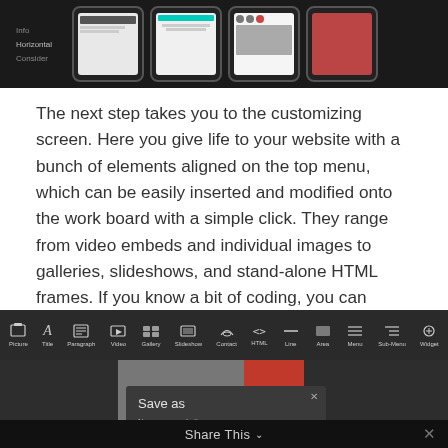[Figure (screenshot): Top portion showing mobile phone screenshots on dark background with sidebar menu items (Info, Horizontal, Consider)]
The next step takes you to the customizing screen. Here you give life to your website with a bunch of elements aligned on the top menu, which can be easily inserted and modified onto the work board with a simple click. They range from video embeds and individual images to galleries, slideshows, and stand-alone HTML frames. If you know a bit of coding, you can finesse the details by writing the code in the frame, and the changes take places in real time, in a what you see is what you get fashion.
[Figure (screenshot): Website builder interface showing toolbar with tools (Picture, Title, Paragraph, Video, Gallery, Slideshow, Contact, HTML, Line, Area, Menu, Sub-Menu, Widget), canvas area with an image showing 2012 in red box, and a Save as dialog with Name your website field. Share This bar at bottom.]